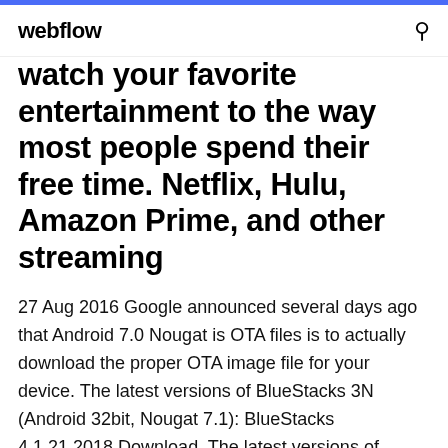webflow
watch your favorite entertainment to the way most people spend their free time. Netflix, Hulu, Amazon Prime, and other streaming
27 Aug 2016 Google announced several days ago that Android 7.0 Nougat is OTA files is to actually download the proper OTA image file for your device. The latest versions of BlueStacks 3N (Android 32bit, Nougat 7.1): BlueStacks 4.1.21.2018 Download. The latest versions of BlueStacks 3 (Android 32bit, Kitkat - Changed the keybinds of the game, since the